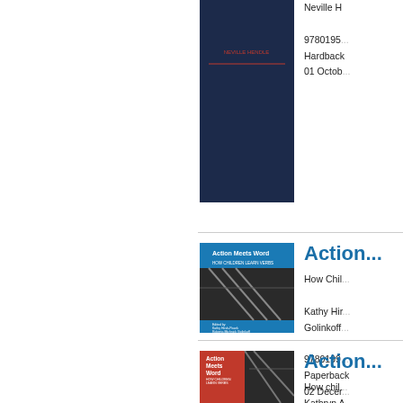[Figure (illustration): Book cover - dark navy blue cover]
Neville H...
9780195...
Hardback
01 Octob...
[Figure (illustration): Book cover - Action Meets Word: How Children Learn Verbs, blue cover with black and white industrial photo]
Action...
How Chil...
Kathy Hir...
Golinkoff...
9780199...
Paperback
02 Decer...
[Figure (illustration): Book cover - Action Meets Word: How Children Learn Verbs, red cover with black and white industrial photo]
Action...
How chil...
Kathryn A...
Golinkoff...
9780195...